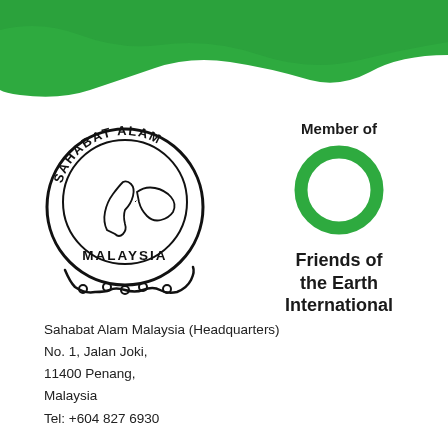[Figure (illustration): Green wave/brush-stroke decorative header banner at the top of the page]
[Figure (logo): Sahabat Alam Malaysia circular logo with gear border, map of Malaysia inside, text 'SAHABAT ALAM' arced on top and 'MALAYSIA' at bottom]
Member of
[Figure (logo): Friends of the Earth International green ring/circle logo]
Friends of the Earth International
Sahabat Alam Malaysia (Headquarters)
No. 1, Jalan Joki,
11400 Penang,
Malaysia
Tel: +604 827 6930